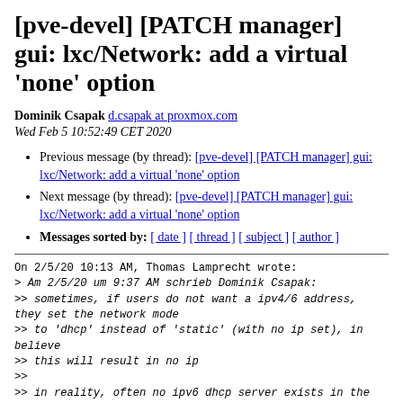[pve-devel] [PATCH manager] gui: lxc/Network: add a virtual 'none' option
Dominik Csapak d.csapak at proxmox.com
Wed Feb 5 10:52:49 CET 2020
Previous message (by thread): [pve-devel] [PATCH manager] gui: lxc/Network: add a virtual 'none' option
Next message (by thread): [pve-devel] [PATCH manager] gui: lxc/Network: add a virtual 'none' option
Messages sorted by: [ date ] [ thread ] [ subject ] [ author ]
On 2/5/20 10:13 AM, Thomas Lamprecht wrote:
> Am 2/5/20 um 9:37 AM schrieb Dominik Csapak:
>> sometimes, if users do not want a ipv4/6 address, they set the network mode
>> to 'dhcp' instead of 'static' (with no ip set), in believe
>> this will result in no ip
>>
>> in reality, often no ipv6 dhcp server exists in the